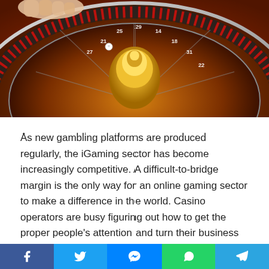[Figure (photo): A roulette wheel with red and black numbered slots, gold center piece, and a hand visible at the top left corner.]
As new gambling platforms are produced regularly, the iGaming sector has become increasingly competitive. A difficult-to-bridge margin is the only way for an online gaming sector to make a difference in the world. Casino operators are busy figuring out how to get the proper people’s attention and turn their business into a success story by dominating the industry for a long period.
It is obvious that some online casinos have nailed this. In addition, casinos worldwide that are doing well have stepped up to the plate to reach out to millions of potential gamblers all
[Figure (infographic): Social sharing bar with Facebook, Twitter, Messenger, WhatsApp, and Telegram icons on colored backgrounds.]